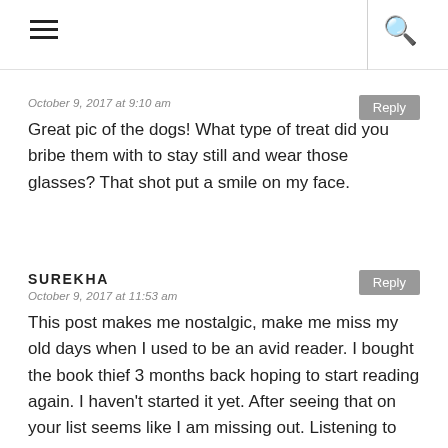≡  🔍
October 9, 2017 at 9:10 am
Great pic of the dogs! What type of treat did you bribe them with to stay still and wear those glasses? That shot put a smile on my face.
SUREKHA
October 9, 2017 at 11:53 am
This post makes me nostalgic, make me miss my old days when I used to be an avid reader. I bought the book thief 3 months back hoping to start reading again. I haven't started it yet. After seeing that on your list seems like I am missing out. Listening to books is also a great idea. Maybe I should start that, it might bring back my hunger to read books after that. Wonderful post